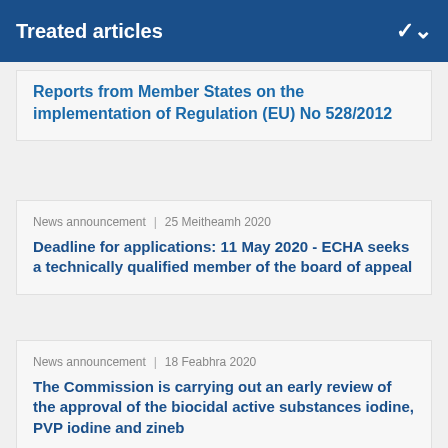Treated articles
Reports from Member States on the implementation of Regulation (EU) No 528/2012
News announcement | 25 Meitheamh 2020
Deadline for applications: 11 May 2020 - ECHA seeks a technically qualified member of the board of appeal
News announcement | 18 Feabhra 2020
The Commission is carrying out an early review of the approval of the biocidal active substances iodine, PVP iodine and zineb